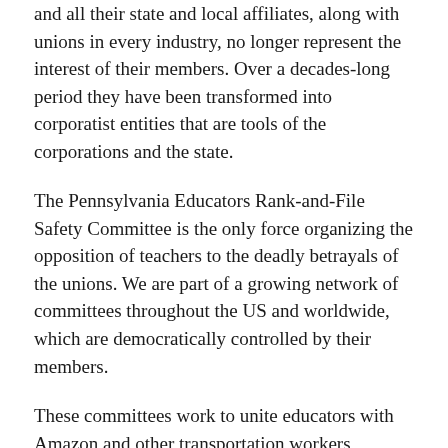and all their state and local affiliates, along with unions in every industry, no longer represent the interest of their members. Over a decades-long period they have been transformed into corporatist entities that are tools of the corporations and the state.
The Pennsylvania Educators Rank-and-File Safety Committee is the only force organizing the opposition of teachers to the deadly betrayals of the unions. We are part of a growing network of committees throughout the US and worldwide, which are democratically controlled by their members.
These committees work to unite educators with Amazon and other transportation workers, workers in auto and basic industry, and all sections of the working class, to fight for a shutdown of schools and nonessential industry in order to contain the pandemic. We urge all Philadelphia educators to sign up today to join and help build this